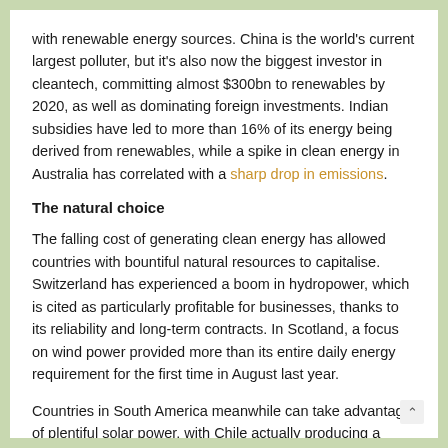with renewable energy sources. China is the world's current largest polluter, but it's also now the biggest investor in cleantech, committing almost $300bn to renewables by 2020, as well as dominating foreign investments. Indian subsidies have led to more than 16% of its energy being derived from renewables, while a spike in clean energy in Australia has correlated with a sharp drop in emissions.
The natural choice
The falling cost of generating clean energy has allowed countries with bountiful natural resources to capitalise. Switzerland has experienced a boom in hydropower, which is cited as particularly profitable for businesses, thanks to its reliability and long-term contracts. In Scotland, a focus on wind power provided more than its entire daily energy requirement for the first time in August last year.
Countries in South America meanwhile can take advantage of plentiful solar power, with Chile actually producing a surplus of energy through its solar plants. And while U.S. policy flounders,